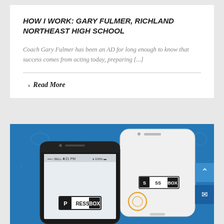HOW I WORK: GARY FULMER, RICHLAND NORTHEAST HIGH SCHOOL
Coach Gary Fulmer has been an AD for long enough to know that success comes from acting today, preparing [...]
Read More
[Figure (screenshot): Blue background with sports icons and two smartphone mockups showing the PressBox app. Black phone in foreground at 4:21 PM with PRESSBOX logo, white phone in background also showing SSBOX logo. Side navigation buttons with up arrow and mail envelope on right edge.]